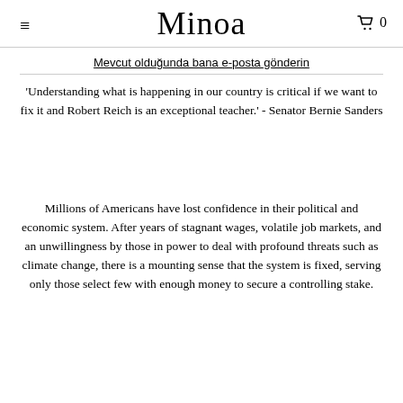Minoa
Mevcut olduğunda bana e-posta gönderin
'Understanding what is happening in our country is critical if we want to fix it and Robert Reich is an exceptional teacher.' - Senator Bernie Sanders
Millions of Americans have lost confidence in their political and economic system. After years of stagnant wages, volatile job markets, and an unwillingness by those in power to deal with profound threats such as climate change, there is a mounting sense that the system is fixed, serving only those select few with enough money to secure a controlling stake.